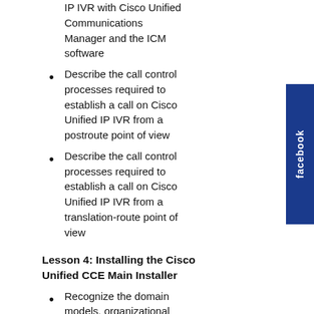IP IVR with Cisco Unified Communications Manager and the ICM software
Describe the call control processes required to establish a call on Cisco Unified IP IVR from a postroute point of view
Describe the call control processes required to establish a call on Cisco Unified IP IVR from a translation-route point of view
Lesson 4: Installing the Cisco Unified CCE Main Installer
Recognize the domain models, organizational units, and security groups used by Cisco Unified Intelligent